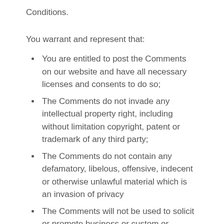Conditions.
You warrant and represent that:
You are entitled to post the Comments on our website and have all necessary licenses and consents to do so;
The Comments do not invade any intellectual property right, including without limitation copyright, patent or trademark of any third party;
The Comments do not contain any defamatory, libelous, offensive, indecent or otherwise unlawful material which is an invasion of privacy
The Comments will not be used to solicit or promote business or custom or